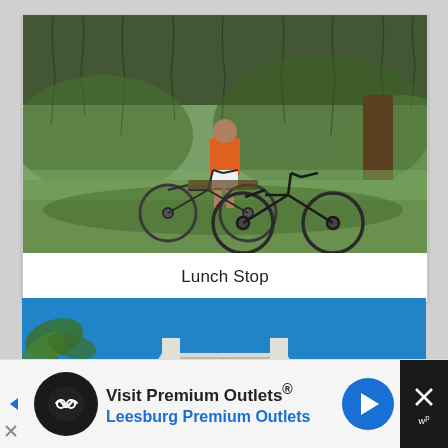[Figure (photo): Man in orange shirt standing with two bicycles under large trees draped with Spanish moss in a park setting. Sunny outdoor scene with green grass and dappled shade.]
Lunch Stop
[Figure (photo): Exterior view of a white colonial-style mansion with triangular pediment, columns, and decorative circular window, photographed against a bright blue sky.]
Visit Premium Outlets® Leesburg Premium Outlets